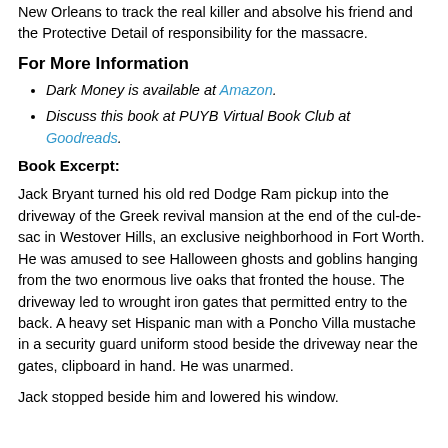New Orleans to track the real killer and absolve his friend and the Protective Detail of responsibility for the massacre.
For More Information
Dark Money is available at Amazon.
Discuss this book at PUYB Virtual Book Club at Goodreads.
Book Excerpt:
Jack Bryant turned his old red Dodge Ram pickup into the driveway of the Greek revival mansion at the end of the cul-de-sac in Westover Hills, an exclusive neighborhood in Fort Worth. He was amused to see Halloween ghosts and goblins hanging from the two enormous live oaks that fronted the house. The driveway led to wrought iron gates that permitted entry to the back. A heavy set Hispanic man with a Poncho Villa mustache in a security guard uniform stood beside the driveway near the gates, clipboard in hand. He was unarmed.
Jack stopped beside him and lowered his window.